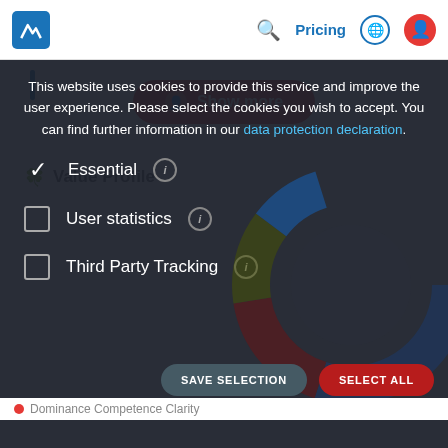Pricing
[Figure (screenshot): Show more button with user icon on a white card with a blue vertical bar on the left]
This website uses cookies to provide this service and improve the user experience. Please select the cookies you wish to accept. You can find further information in our data protection declaration.
Essential (checked)
User statistics (unchecked)
Third Party Tracking (unchecked)
[Figure (donut-chart): Partially visible donut chart with dark blue, dark red, olive/dark yellow, and blue segments in background behind cookie options]
SAVE SELECTION   SELECT ALL
Dominance  Competence  Clarity